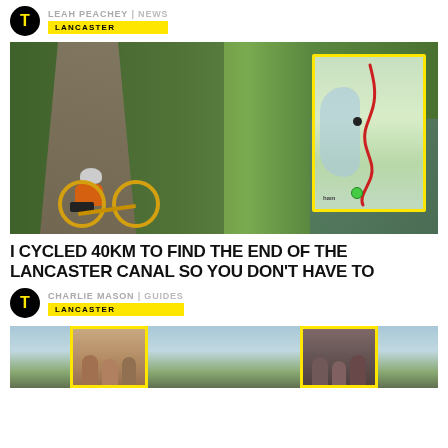LEAH PEACHEY | NEWS
LANCASTER
[Figure (photo): Person in orange hoodie standing with a yellow road bike on a canal towpath surrounded by green trees, with a map overlay showing a red cycling route along Lancaster Canal.]
I CYCLED 40KM TO FIND THE END OF THE LANCASTER CANAL SO YOU DON'T HAVE TO
CHARLIE MASON | GUIDES
LANCASTER
[Figure (photo): Partial view of a scenic waterway or outdoor location with two yellow-bordered thumbnail photos showing groups of people.]